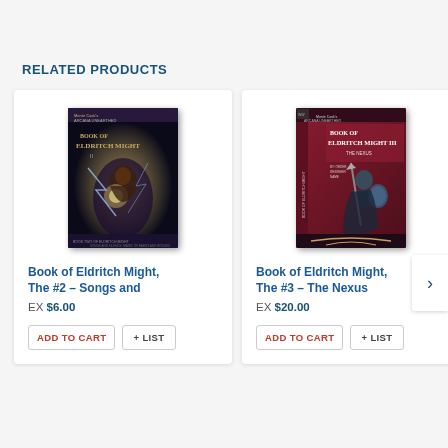RELATED PRODUCTS
[Figure (illustration): Book cover of 'Book of Eldritch Might, The #2 – Songs and...' — dark purple fantasy RPG book cover with glowing figure]
Book of Eldritch Might, The #2 – Songs and
EX $6.00
ADD TO CART
+ LIST
[Figure (illustration): Book cover of 'Book of Eldritch Might, The #3 – The Nexus' — dark red fantasy RPG book cover with warrior figure]
Book of Eldritch Might, The #3 – The Nexus
EX $20.00
ADD TO CART
+ LIST